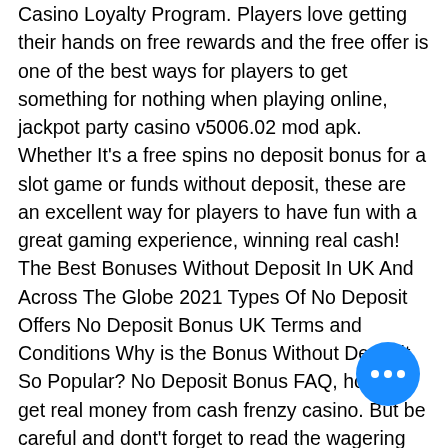Casino Loyalty Program. Players love getting their hands on free rewards and the free offer is one of the best ways for players to get something for nothing when playing online, jackpot party casino v5006.02 mod apk. Whether It's a free spins no deposit bonus for a slot game or funds without deposit, these are an excellent way for players to have fun with a great gaming experience, winning real cash! The Best Bonuses Without Deposit In UK And Across The Globe 2021 Types Of No Deposit Offers No Deposit Bonus UK Terms and Conditions Why is the Bonus Without Deposit So Popular? No Deposit Bonus FAQ, how to get real money from cash frenzy casino. But be careful and dont't forget to read the wagering rules. All promotions can be used with a x35 wagering requirement, caesars palace new jersey. American shoe brands always users the best experience and product quality. If you are not familiar with the shoe